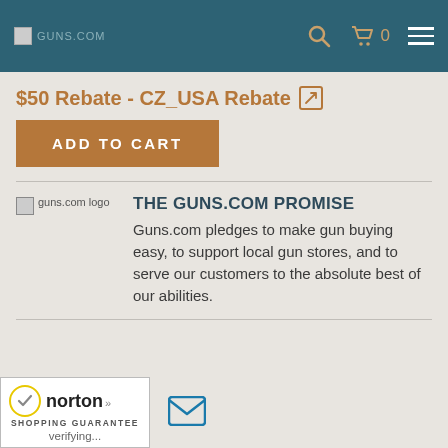guns.com — header navigation with search, cart (0), and menu
$50 Rebate - CZ_USA Rebate
ADD TO CART
THE GUNS.COM PROMISE
Guns.com pledges to make gun buying easy, to support local gun stores, and to serve our customers to the absolute best of our abilities.
[Figure (logo): Norton Shopping Guarantee badge with verifying status and yellow checkmark]
[Figure (other): Email/envelope icon in teal blue]